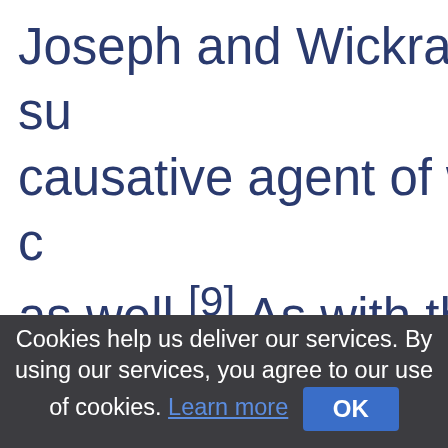Joseph and Wickramasinghe su causative agent of which to be c as well.[9] As with the Black Dea
Cookies help us deliver our services. By using our services, you agree to our use of cookies. Learn more OK